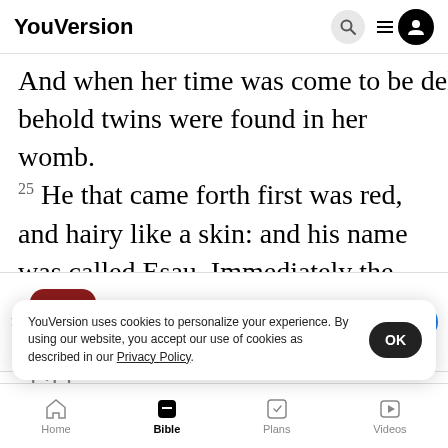YouVersion
And when her time was come to be delivered, behold twins were found in her womb.
25 He that came forth first was red, and hairy like a skin: and his name was called Esau. Immediately the other coming forth, held his brother's foot in his
[Figure (screenshot): App download banner for The Bible App with Holy Bible icon, star rating 7.9M, and Download button]
children
27 An
YouVersion uses cookies to personalize your experience. By using our website, you accept our use of cookies as described in our Privacy Policy.
Home  Bible  Plans  Videos